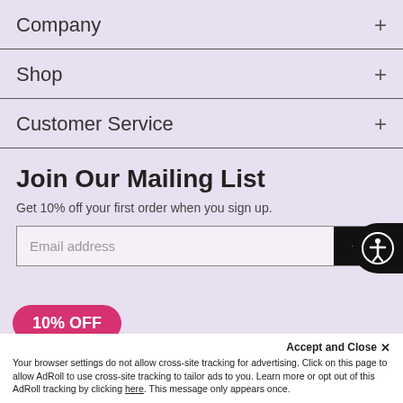Company
Shop
Customer Service
Join Our Mailing List
Get 10% off your first order when you sign up.
Email address
10% OFF
Accept and Close ✕
Your browser settings do not allow cross-site tracking for advertising. Click on this page to allow AdRoll to use cross-site tracking to tailor ads to you. Learn more or opt out of this AdRoll tracking by clicking here. This message only appears once.